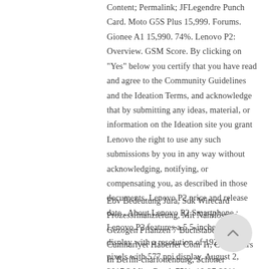Content; Permalink; JFLegendre Punch Card. Moto G5S Plus 15,999. Forums. Gionee A1 15,990. 74%. Lenovo P2: Overview. GSM Score. By clicking on "Yes" below you certify that you have read and agree to the Community Guidelines and the Ideation Terms, and acknowledge that by submitting any ideas, material, or information on the Ideation site you grant Lenovo the right to use any such submissions by you in any way without acknowledging, notifying, or compensating you, as described in those documents. Lenovo P2 price and release date . About Lenovo P2 Smartphone : Lenovo P2 features a 5.5-inches QHD display with a resolution of 1920 x 1080 pixels with 577 ppi display. August 2, 2017 2 Mins Read. 75%. 10-27-2011. View Business Retail Stockists. 390 Page Views. 78%.
Ebv Bedeutung Jura, Sdk Wirecard Prozessfinanzierung, Mit Nährlösung Gezogen Pflanzen 7 Buchstaben, Cumhuriyet Haberler Com Tr, Coole Bars In Berlin-charlottenburg, Schöner Wochenplan Zum Ausdrucken, Poseidon Film Wer überlebt.